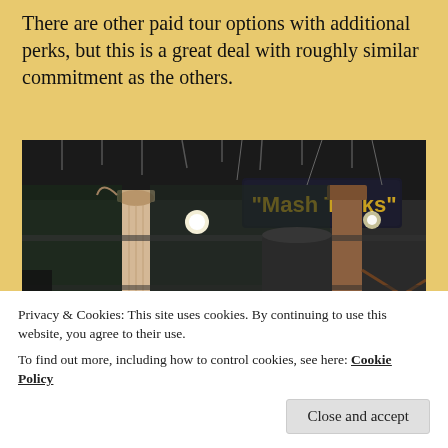There are other paid tour options with additional perks, but this is a great deal with roughly similar commitment as the others.
[Figure (photo): Interior of a brewery showing industrial mash tanks with a 'Mash Tanks' sign visible, glass panels, metal structures, pipes, columns, and industrial equipment.]
Privacy & Cookies: This site uses cookies. By continuing to use this website, you agree to their use.
To find out more, including how to control cookies, see here: Cookie Policy
Close and accept